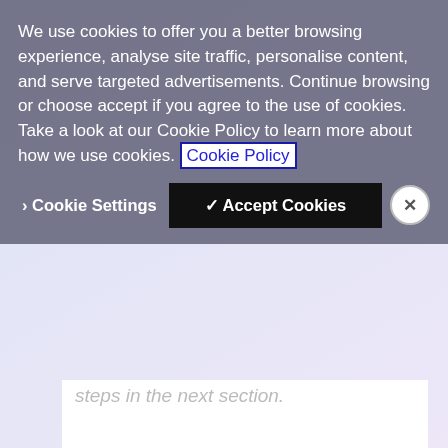steps in the next section.
Method 2: Adding the Call Button Programmatically
Adding the call button programmatically allows you to change its properties, such as callee and nexmoToken, dynamically. In addition to calling the desired destination, more actions can be added for when the button is pressed—for example, switching to a
We use cookies to offer you a better browsing experience, analyse site traffic, personalise content, and serve targeted advertisements. Continue browsing or choose accept if you agree to the use of cookies. Take a look at our Cookie Policy to learn more about how we use cookies. Cookie Policy